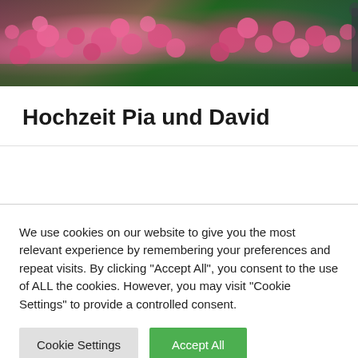[Figure (photo): Top banner photo showing two people in traditional Bavarian clothing (Tracht) standing in front of pink flowering roses, partially visible at the top of the page.]
Hochzeit Pia und David
We use cookies on our website to give you the most relevant experience by remembering your preferences and repeat visits. By clicking “Accept All”, you consent to the use of ALL the cookies. However, you may visit "Cookie Settings" to provide a controlled consent.